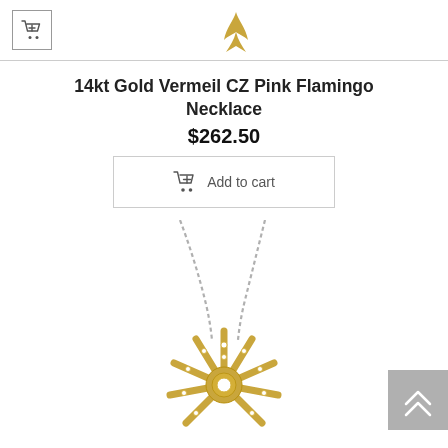[Figure (photo): Top portion showing a small shopping cart icon button with border and a gold whale tail or bird charm jewelry piece on white background]
14kt Gold Vermeil CZ Pink Flamingo Necklace
$262.50
[Figure (other): Add to cart button with shopping cart icon and text 'Add to cart' inside a rectangular border]
[Figure (photo): Photo of a gold sun burst / starburst necklace pendant with crystal/CZ stones on each ray, hanging from a silver chain, on white background. A grey back-to-top arrow button is visible in the bottom right corner.]